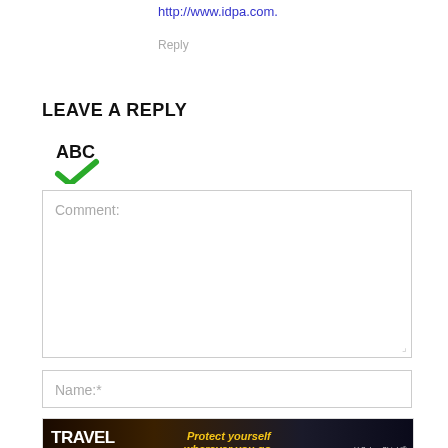http://www.idpa.com.
Reply
LEAVE A REPLY
[Figure (other): Spell-check icon with ABC text and a green checkmark below]
Comment:
Name:*
[Figure (other): Travel Guide for Gun Owners advertisement banner — yellow and dark background with text: TRAVEL GUIDE FOR GUN OWNERS, Protect yourself wherever you go, arrow icons, and U.S. LawShield logo]